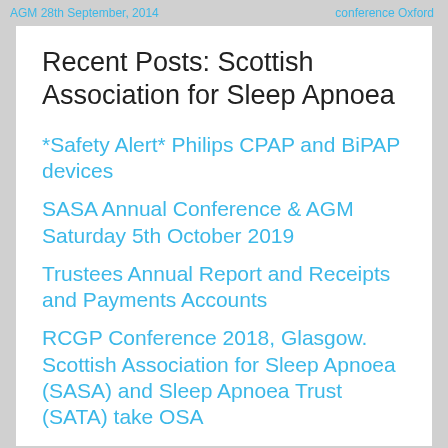AGM 28th September, 2014 | conference Oxford
Recent Posts: Scottish Association for Sleep Apnoea
*Safety Alert* Philips CPAP and BiPAP devices
SASA Annual Conference & AGM Saturday 5th October 2019
Trustees Annual Report and Receipts and Payments Accounts
RCGP Conference 2018, Glasgow. Scottish Association for Sleep Apnoea (SASA) and Sleep Apnoea Trust (SATA) take OSA